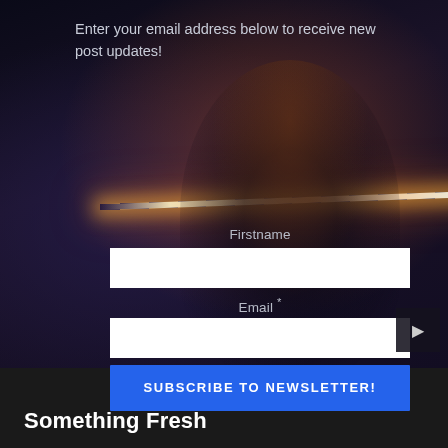[Figure (photo): Dark cinematic background image of a person holding a glowing neon bar/rod, with dramatic blue-purple and orange lighting. Used as a newsletter signup form background.]
Enter your email address below to receive new post updates!
Firstname
Email *
SUBSCRIBE TO NEWSLETTER!
Something Fresh